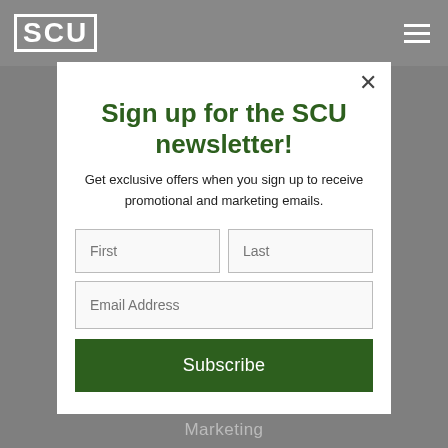SCU
Sign up for the SCU newsletter!
Get exclusive offers when you sign up to receive promotional and marketing emails.
First | Last | Email Address | Subscribe
Marketing